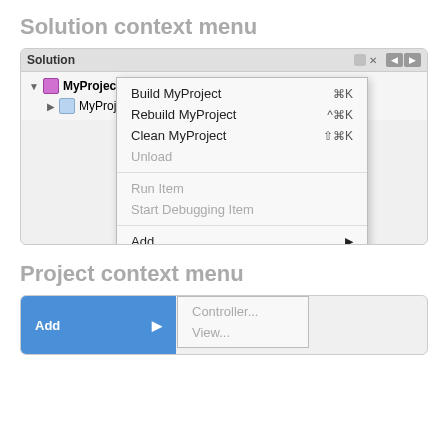Solution context menu
[Figure (screenshot): Screenshot of Xamarin Studio showing the Solution panel with a context menu open on MyProject. The context menu shows: Build MyProject (⌘K), Rebuild MyProject (^⌘K), Clean MyProject (⇧⌘K), Unload (grayed), Run Item (grayed), Start Debugging Item (grayed), Add (with submenu arrow), Update NuGet Packages (highlighted in blue), Restore NuGet Packages.]
Project context menu
[Figure (screenshot): Screenshot showing Add menu item highlighted in blue with a submenu showing Controller... and View... options.]